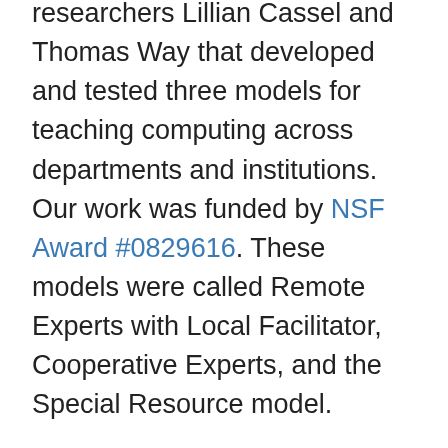researchers Lillian Cassel and Thomas Way that developed and tested three models for teaching computing across departments and institutions. Our work was funded by NSF Award #0829616. These models were called Remote Experts with Local Facilitator, Cooperative Experts, and the Special Resource model.
Remote Expert Model. Under the remote expert model, one class with deeper expertise in a particular area contributes to a another class's project, often at a different